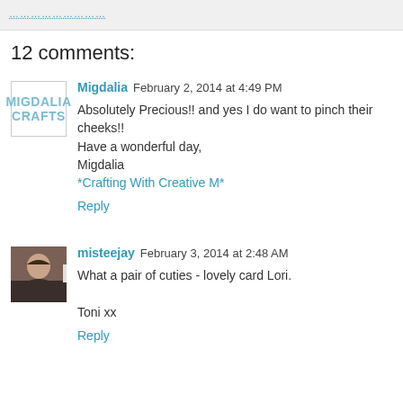………………………
12 comments:
Migdalia  February 2, 2014 at 4:49 PM
Absolutely Precious!! and yes I do want to pinch their cheeks!!
Have a wonderful day,
Migdalia
*Crafting With Creative M*
Reply
misteejay  February 3, 2014 at 2:48 AM
What a pair of cuties - lovely card Lori.

Toni xx
Reply